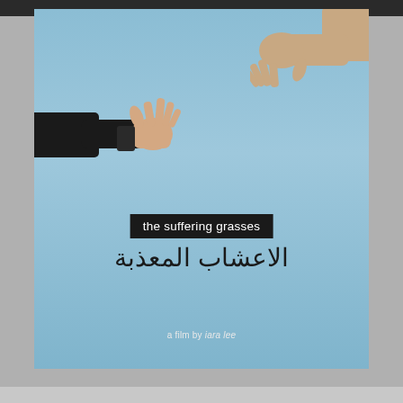[Figure (photo): Movie poster for 'the suffering grasses' (الاعشاب المعذبة), a film by Iara Lee. Sky-blue background with two outstretched hands reaching toward each other from opposite sides — one from lower left in a dark sleeve, one from upper right. Center shows English title in white text on black rectangle, Arabic title below in dark text, and 'a film by iara lee' at bottom.]